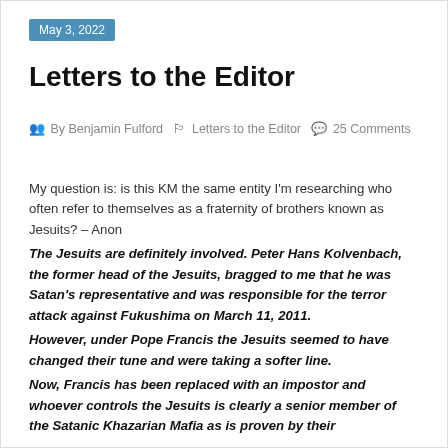May 3, 2022
Letters to the Editor
By Benjamin Fulford   Letters to the Editor   25 Comments
My question is: is this KM the same entity I'm researching who often refer to themselves as a fraternity of brothers known as Jesuits? – Anon
The Jesuits are definitely involved. Peter Hans Kolvenbach, the former head of the Jesuits, bragged to me that he was Satan's representative and was responsible for the terror attack against Fukushima on March 11, 2011.
However, under Pope Francis the Jesuits seemed to have changed their tune and were taking a softer line.
Now, Francis has been replaced with an impostor and whoever controls the Jesuits is clearly a senior member of the Satanic Khazarian Mafia as is proven by their